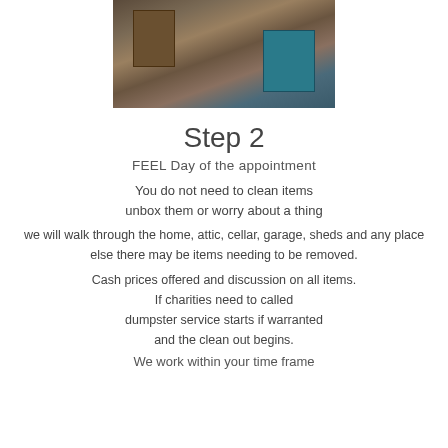[Figure (photo): A cluttered room with piles of items, bags, boxes, and furniture stacked and spread across the floor and walls]
Step 2
FEEL Day of the appointment
You do not need to clean items
unbox them or worry about a thing
we will walk through the home, attic, cellar, garage, sheds and any place else there may be items needing to be removed.
Cash prices offered and discussion on all items.
If charities need to called
dumpster service starts if warranted
and the clean out begins.
We work within your time frame